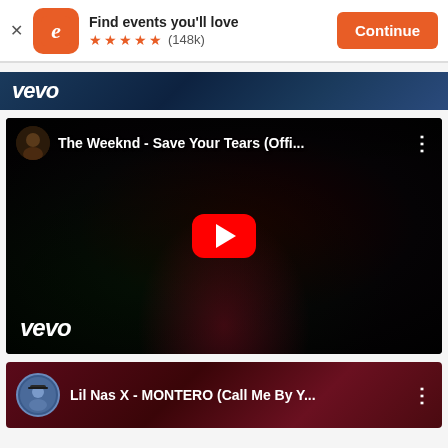[Figure (screenshot): Eventbrite app banner with logo, 'Find events you'll love', 5 star rating (148k), and Continue button]
[Figure (screenshot): Vevo banner strip at top of YouTube page]
[Figure (screenshot): YouTube video thumbnail for 'The Weeknd - Save Your Tears (Offi...' with red play button and vevo watermark]
[Figure (screenshot): Partial YouTube video entry for 'Lil Nas X - MONTERO (Call Me By Y...']